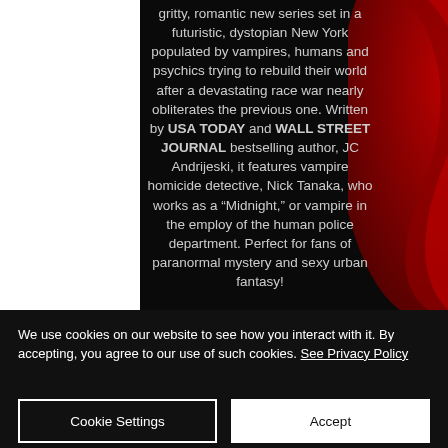[Figure (illustration): Book cover or promotional image with dark black background, a white/light strip on the left edge (book spine area), red decorative swooping shapes on the right side, and centered descriptive text in light gray.]
gritty, romantic new series set in a futuristic, dystopian New York populated by vampires, humans and psychics trying to rebuild their world after a devastating race war nearly obliterates the previous one. Written by USA TODAY and WALL STREET JOURNAL bestselling author, JC Andrijeski, it features vampire homicide detective, Nick Tanaka, who works as a "Midnight," or vampire in the employ of the human police department. Perfect for fans of paranormal mystery and sexy urban fantasy!
We use cookies on our website to see how you interact with it. By accepting, you agree to our use of such cookies. See Privacy Policy
Cookie Settings
Accept